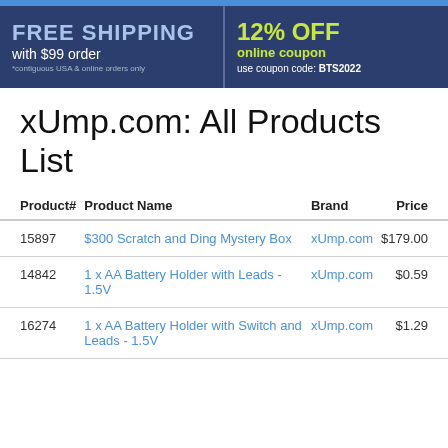[Figure (infographic): Promotional banner with dark blue background. Left side: FREE SHIPPING with $99 order (*contiguous USA & online orders only). Right side: 12% OFF online coupon, use coupon code: BTS2022]
xUmp.com: All Products List
| Product# | Product Name | Brand | Price |
| --- | --- | --- | --- |
| 15897 | $300 Scratch and Ding Mystery Box | xUmp.com | $179.00 |
| 14842 | 1 x AA Battery Holder with Leads - 1.5V | xUmp.com | $0.59 |
| 16274 | 1 x AA Battery Holder with Switch and Leads - 1.5V | xUmp.com | $1.29 |